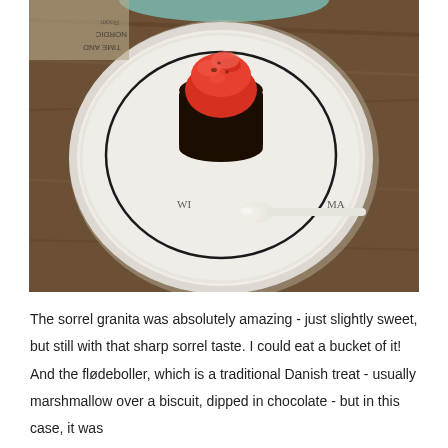[Figure (photo): A white paper plate with a Williams-Sonoma logo, holding a dark chocolate flødebolle topped with bright red-pink sorrel granita, alongside a small white plastic spoon. The plate is on a wooden surface with a teal/green circular object visible at the top.]
The sorrel granita was absolutely amazing - just slightly sweet, but still with that sharp sorrel taste. I could eat a bucket of it! And the flødeboller, which is a traditional Danish treat - usually marshmallow over a biscuit, dipped in chocolate - but in this case, it was